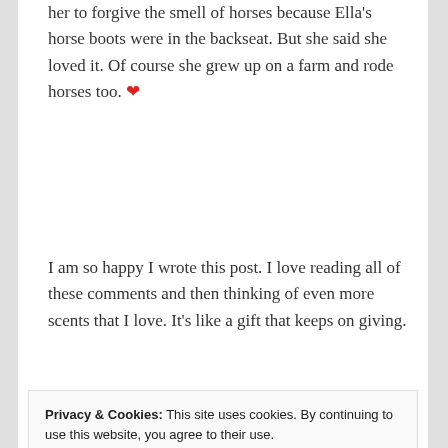her to forgive the smell of horses because Ella's horse boots were in the backseat. But she said she loved it. Of course she grew up on a farm and rode horses too. ❤
I am so happy I wrote this post. I love reading all of these comments and then thinking of even more scents that I love. It's like a gift that keeps on giving.
★ Like
Reply →
Privacy & Cookies: This site uses cookies. By continuing to use this website, you agree to their use.
To find out more, including how to control cookies, see here: Cookie Policy
Close and accept
May 17, 2021 at 9:28 pm